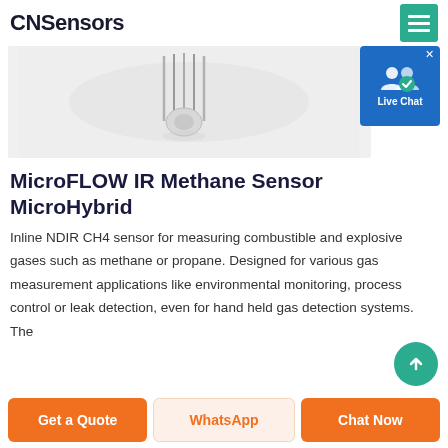CNSensors
[Figure (photo): Close-up photo of a MicroFLOW IR Methane Sensor MicroHybrid component on a light grey background, showing thin metallic pins/leads.]
[Figure (infographic): Live Chat widget button with two person icons and a blue circular checkmark, labeled 'Live Chat']
MicroFLOW IR Methane Sensor MicroHybrid
Inline NDIR CH4 sensor for measuring combustible and explosive gases such as methane or propane. Designed for various gas measurement applications like environmental monitoring, process control or leak detection, even for hand held gas detection systems. The
Get a Quote
WhatsApp
Chat Now